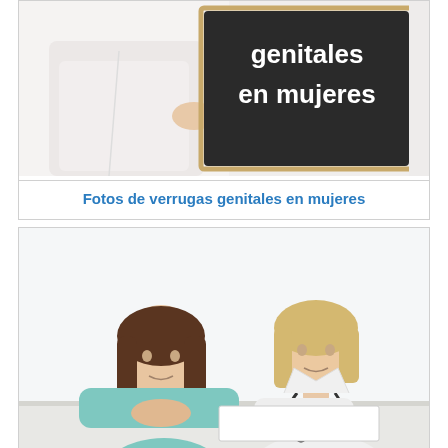[Figure (photo): A doctor in a white coat holding a chalkboard sign that reads 'genitales en mujeres' in white text on black background]
Fotos de verrugas genitales en mujeres
[Figure (photo): A female patient in a light blue cardigan sitting across from a blonde female doctor in a white coat with a stethoscope, who is writing notes at a desk in a bright white clinical setting]